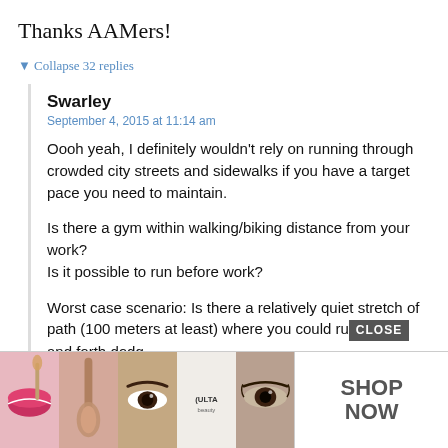Thanks AAMers!
▼ Collapse 32 replies
Swarley
September 4, 2015 at 11:14 am
Oooh yeah, I definitely wouldn't rely on running through crowded city streets and sidewalks if you have a target pace you need to maintain.
Is there a gym within walking/biking distance from your work?
Is it possible to run before work?
Worst case scenario: Is there a relatively quiet stretch of path (100 meters at least) where you could ru[CLOSE]and forth dodg
[Figure (photo): Advertisement banner with makeup/beauty images (lips, brush, eyes, ULTA logo, eyes) with SHOP NOW call to action and CLOSE button]